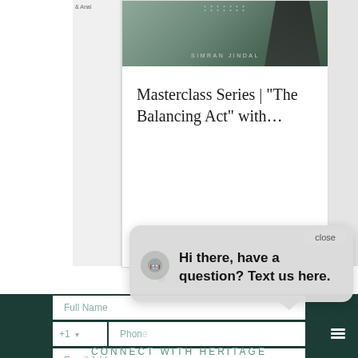[Figure (screenshot): Carousel card showing 'Masterclass Series | The Balancing Act with...' featuring an image of Simran Jindal with a dots pattern header, partially visible cards on left and right]
Masterclass Series | "The Balancing Act" with…
[Figure (other): Carousel navigation dots — one filled teal (active), two grey]
[Figure (screenshot): Dark teal newsletter signup form section with fields: Full Name, phone (+1), Email Address, and Subscribe Now button, partially visible 'CONNECT WITH HERITAGE' text at bottom]
Full Name
+1
Phone
Email Address
Subscribe Now
CONNECT WITH HERITAGE
[Figure (screenshot): Chat popup overlay with close button, robot/chat icon, bold text 'Hi there, have a question? Text us here.' and speech bubble tail with dark teal FAB button below]